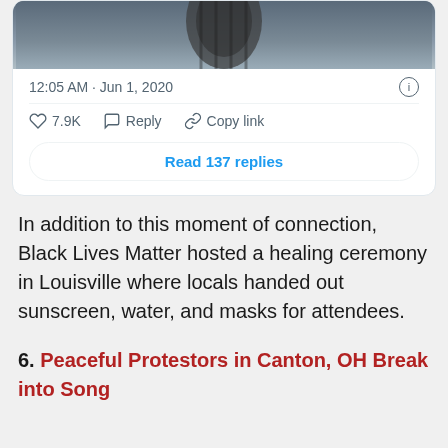[Figure (screenshot): Top portion of a tweet card showing a dark image (partial photo), timestamp '12:05 AM · Jun 1, 2020', info icon, a divider, action row with heart icon '7.9K', Reply, Copy link, and a 'Read 137 replies' button]
In addition to this moment of connection, Black Lives Matter hosted a healing ceremony in Louisville where locals handed out sunscreen, water, and masks for attendees.
6. Peaceful Protestors in Canton, OH Break into Song